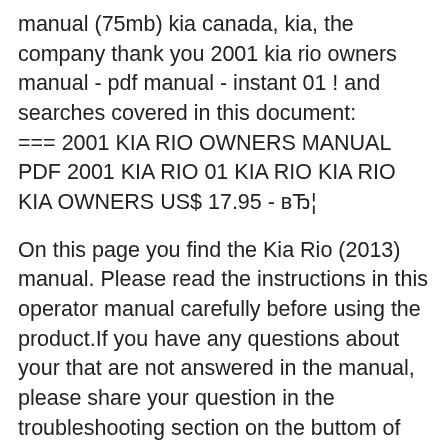manual (75mb) kia canada, kia, the company thank you 2001 kia rio owners manual - pdf manual - instant 01 ! and searches covered in this document: === 2001 KIA RIO OWNERS MANUAL PDF 2001 KIA RIO 01 KIA RIO KIA RIO KIA OWNERS US$ 17.95 - вЂ¦
On this page you find the Kia Rio (2013) manual. Please read the instructions in this operator manual carefully before using the product.If you have any questions about your that are not answered in the manual, please share your question in the troubleshooting section on the buttom of this page. malfunctioned kia rio ub 2012 2018 owners manual kia rio ub 2012 2018